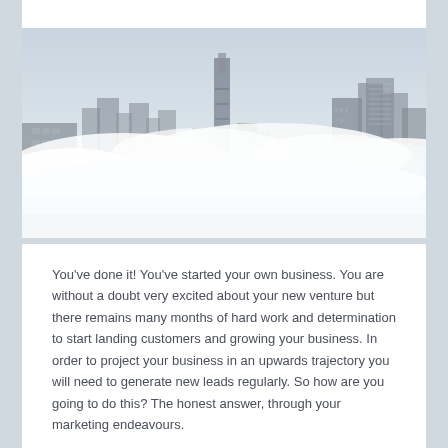[Figure (photo): Aerial photograph of a city skyline with skyscrapers emerging through a thick layer of white clouds/fog. A tall distinctive tower is visible in the center background. The sky above is pale blue-grey.]
You've done it! You've started your own business. You are without a doubt very excited about your new venture but there remains many months of hard work and determination to start landing customers and growing your business. In order to project your business in an upwards trajectory you will need to generate new leads regularly. So how are you going to do this? The honest answer, through your marketing endeavours.